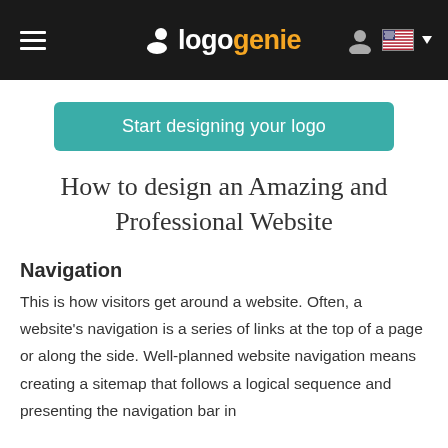logogenie
[Figure (logo): Logogenie website header with hamburger menu on left, logogenie logo in center (white and orange text), and user icon plus US flag dropdown on right, on dark background]
Start designing your logo
How to design an Amazing and Professional Website
Navigation
This is how visitors get around a website. Often, a website's navigation is a series of links at the top of a page or along the side. Well-planned website navigation means creating a sitemap that follows a logical sequence and presenting the navigation bar in